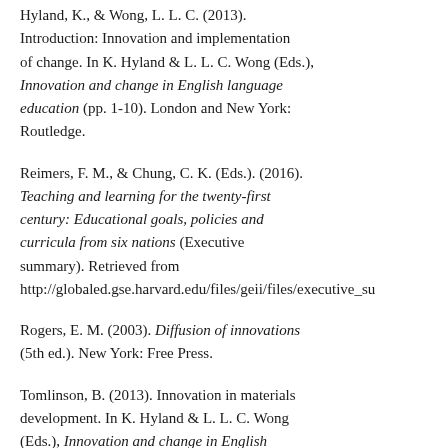Hyland, K., & Wong, L. L. C. (2013). Introduction: Innovation and implementation of change. In K. Hyland & L. L. C. Wong (Eds.), Innovation and change in English language education (pp. 1-10). London and New York: Routledge.
Reimers, F. M., & Chung, C. K. (Eds.). (2016). Teaching and learning for the twenty-first century: Educational goals, policies and curricula from six nations (Executive summary). Retrieved from http://globaled.gse.harvard.edu/files/geii/files/executive_su
Rogers, E. M. (2003). Diffusion of innovations (5th ed.). New York: Free Press.
Tomlinson, B. (2013). Innovation in materials development. In K. Hyland & L. L. C. Wong (Eds.), Innovation and change in English